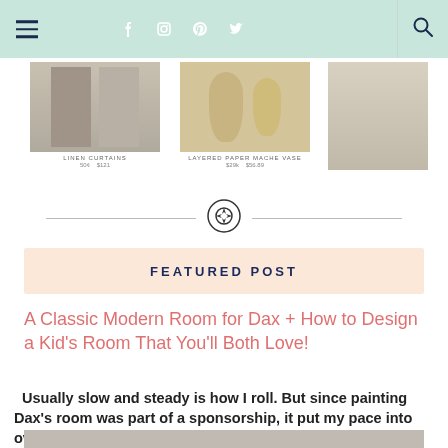Navigation bar with hamburger menu, social icons (Facebook, Instagram, Pinterest, Twitter), and search icon
[Figure (photo): Shop section showing product images: linen curtains, layered paper mache vase, and a room photo, with product labels and prices]
[Figure (logo): Circular heart/target decorative divider icon between horizontal lines]
FEATURED POST
A Classic Modern Room for Dax + How to Design a Kid's Room That You'll Both Love!
Usually slow and steady is how I roll. But since painting Dax's room was part of a sponsorship, it put my pace into overdrive. Funny h...
[Figure (photo): Partial view of a room photo at the bottom of the page]